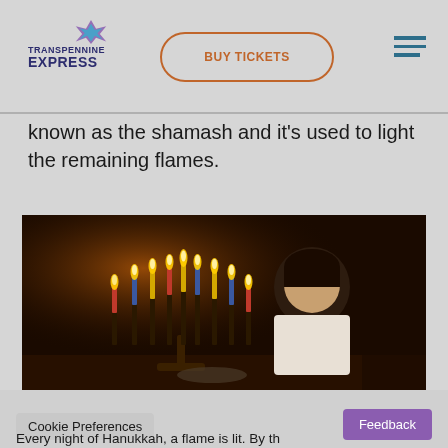Transpennine Express — BUY TICKETS
known as the shamash and it's used to light the remaining flames.
[Figure (photo): A child lighting a Hanukkah menorah with many candles lit, in a dark room setting.]
Cookie Preferences   Feedback   Every night of Hanukkah, a flame is lit. By th...